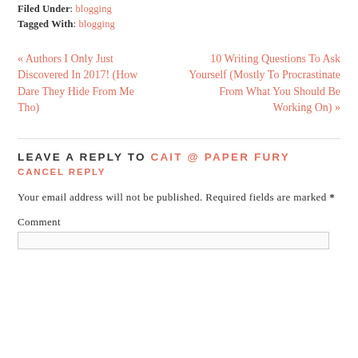Filed Under: blogging
Tagged With: blogging
« Authors I Only Just Discovered In 2017! (How Dare They Hide From Me Tho)
10 Writing Questions To Ask Yourself (Mostly To Procrastinate From What You Should Be Working On) »
LEAVE A REPLY TO CAIT @ PAPER FURY CANCEL REPLY
Your email address will not be published. Required fields are marked *
Comment